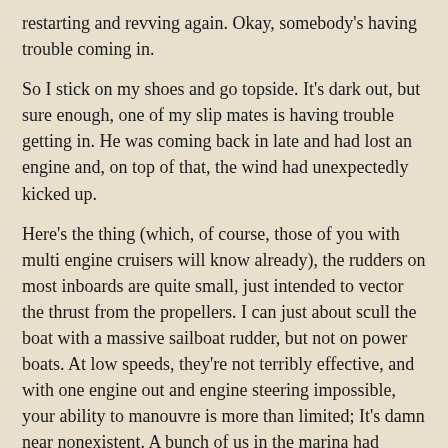restarting and revving again.  Okay, somebody's having trouble coming in.
So I stick on my shoes and go topside.  It's dark out, but sure enough, one of my slip mates is having trouble getting in.  He was coming back in late and had lost an engine and, on top of that, the wind had unexpectedly kicked up.
Here's the thing (which, of course, those of you with multi engine cruisers will know already), the rudders on most inboards are quite small, just intended to vector the thrust from the propellers. I can just about scull the boat with a massive sailboat rudder, but not on power boats.  At low speeds, they're not terribly effective, and with one engine out and engine steering impossible, your ability to manouvre is more than limited;  It's damn near nonexistent.  A bunch of us in the marina had gathered on the dock to try to help them get in.  It took a couple of tries, fighting a broadside wind, to get them in line-flinging range.  It was then that we discovered a problem.
[Figure (photo): Partial image/photo strip visible at the bottom of the page]